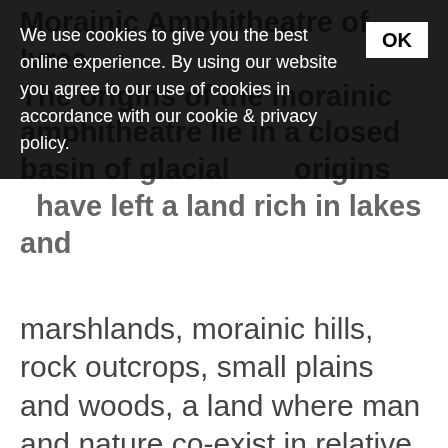Morainic Amphitheatre of Ivrea. The origins of the morainic amphitheatre lie in a closed basin of glacial origins have left a land rich in lakes and marshlands, morainic hills, rock outcrops, small plains and woods, a land where man and nature co-exist in relative harmony.
We use cookies to give you the best online experience. By using our website you agree to our use of cookies in accordance with our cookie & privacy policy.
The village of Chiaverano lies on the easterly flank of the amphitheatre, known as the Serra morain., that stretches out for 18 kilometres. In years gone by the entire Serra was used for